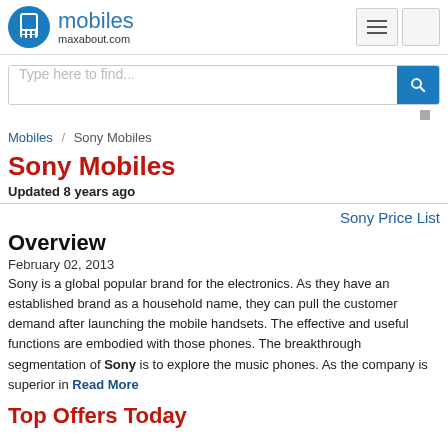mobiles maxabout.com
Type here to find...
Mobiles / Sony Mobiles
Sony Mobiles
Updated 8 years ago
Sony Price List
Overview
February 02, 2013
Sony is a global popular brand for the electronics. As they have an established brand as a household name, they can pull the customer demand after launching the mobile handsets. The effective and useful functions are embodied with those phones. The breakthrough segmentation of Sony is to explore the music phones. As the company is superior in Read More
Top Offers Today